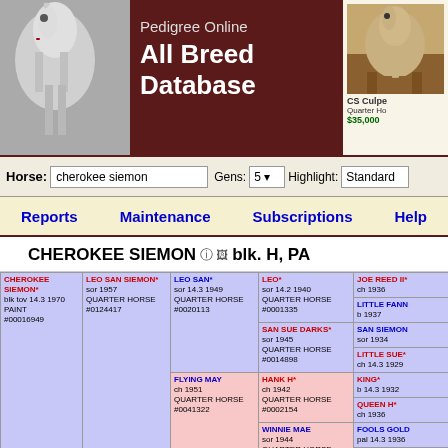Pedigree Online All Breed Database
CS Culpe Quarter Ho $35,000
Horse: cherokee siemon  Gens: 5  Highlight: Standard
Reports  Maintenance  Subscriptions  Help
CHEROKEE SIEMON blk. H, PA
| Gen1 | Gen2 | Gen3 | Gen4 | Gen5 |
| --- | --- | --- | --- | --- |
| CHEROKEE SIEMON* blk tov 14.3 1970 PAINT #00016949 | LEO SAN SIEMON* sor 1957 QUARTER HORSE #0124417 | LEO SAN* sor 14.3 1949 QUARTER HORSE #0020113 | LEO* sor 14.2 1940 QUARTER HORSE #0001335 | JOE REED II* ch 1936 |
|  |  |  |  | LITTLE FANN b 1937 |
|  |  |  | SAN SUE DARKS* sor 1945 QUARTER HORSE #0014898 | SAN SIEMON sor 1934 |
|  |  |  |  | LITTLE SUE* ch 14.3 1929 |
|  |  | FLYING MAY ch 1951 QUARTER HORSE #0041322 | HANK H* ch 1942 QUARTER HORSE #0002154 | KING* b 14.3 1932 |
|  |  |  |  | QUEEN H* ch 1936 |
|  |  |  | WINNIE MAE sor 1944 QUARTER HORSE #0008318 | FOOLS GOLD pal 14.3 1936 |
|  |  |  |  | WINNIE HILL b 1932 |
|  | CHEROKEE MAIDEN* b tob 1960 PAINT | OSAGE DAN ch 15.0 1957 QUARTER HORSE #0085620 | LITTLE DANDY* sor 1940 QUARTER HORSE #0006163 | KING* b 14.3 1932 |
|  |  |  |  | RED LOCKS ch 1938 |
|  |  |  | EVANS DUEL* ch 1952 QUARTER HORSE #0060252 | LITTLE DAN sor 1940 |
|  |  |  |  | PRETTYGIRL ch 1944 |